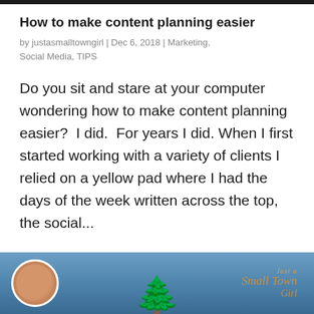How to make content planning easier
by justasmalltowngirl | Dec 6, 2018 | Marketing, Social Media, TIPS
Do you sit and stare at your computer wondering how to make content planning easier?  I did.  For years I did.  When I first started working with a variety of clients I relied on a yellow pad where I had the days of the week written across the top, the social...
[Figure (photo): A blog header image showing a woman with short reddish-brown hair in a circular avatar on the left, a winter outdoor scene with a tree silhouette in the center, and a decorative script logo reading 'Just a Small Town Girl' on the right.]